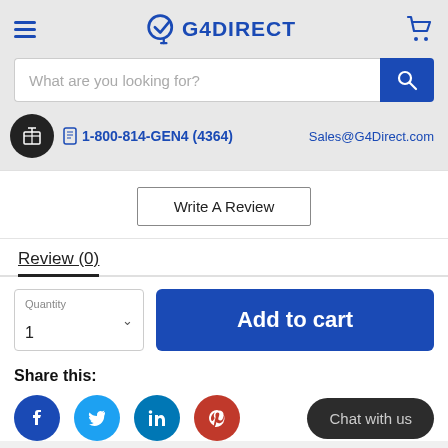[Figure (screenshot): G4Direct website header with hamburger menu, logo, and cart icon]
[Figure (screenshot): Search bar with placeholder text 'What are you looking for?' and blue search button]
Sales@G4Direct.com
1-800-814-GEN4 (4364)
Write A Review
Review (0)
Quantity
1
Add to cart
Share this:
Chat with us